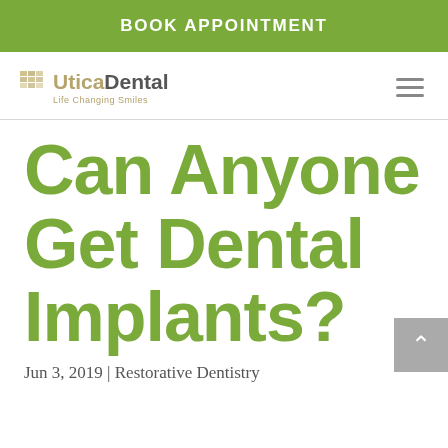BOOK APPOINTMENT
[Figure (logo): Utica Dental logo with decorative tooth icon and tagline 'Life Changing Smiles']
Can Anyone Get Dental Implants?
Jun 3, 2019 | Restorative Dentistry